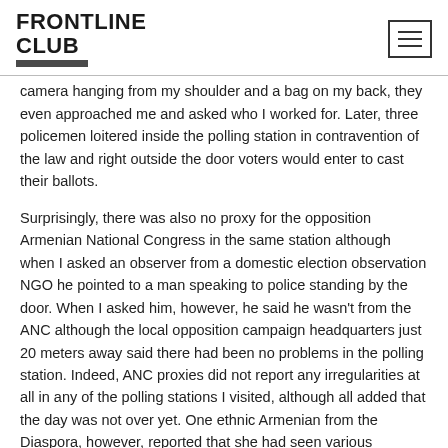FRONTLINE CLUB
camera hanging from my shoulder and a bag on my back, they even approached me and asked who I worked for. Later, three policemen loitered inside the polling station in contravention of the law and right outside the door voters would enter to cast their ballots.
Surprisingly, there was also no proxy for the opposition Armenian National Congress in the same station although when I asked an observer from a domestic election observation NGO he pointed to a man speaking to police standing by the door. When I asked him, however, he said he wasn't from the ANC although the local opposition campaign headquarters just 20 meters away said there had been no problems in the polling station. Indeed, ANC proxies did not report any irregularities at all in any of the polling stations I visited, although all added that the day was not over yet. One ethnic Armenian from the Diaspora, however, reported that she had seen various examples of electoral fraud and implies that some opposition representatives were bribed to turn a blind eye.